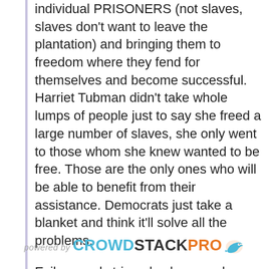individual PRISONERS (not slaves, slaves don't want to leave the plantation) and bringing them to freedom where they fend for themselves and become successful. Harriet Tubman didn't take whole lumps of people just to say she freed a large number of slaves, she only went to those whom she knew wanted to be free. Those are the only ones who will be able to benefit from their assistance. Democrats just take a blanket and think it'll solve all the problems.

Evil can only triumph when good men do nothing.
6/26/03 @ 11:12 AM
powered by CROWDSTACKPRO